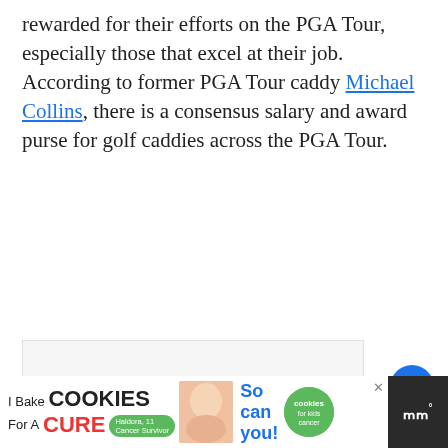rewarded for their efforts on the PGA Tour, especially those that excel at their job. According to former PGA Tour caddy Michael Collins, there is a consensus salary and award purse for golf caddies across the PGA Tour.
[Figure (screenshot): Gray content box placeholder with navigation dots below]
[Figure (infographic): Heart/like button (blue circle with heart icon), like count of 1, and share button below]
[Figure (infographic): What's Next panel showing a golf image thumbnail and text 'How Many Golf Clubs...']
[Figure (infographic): Advertisement bar at bottom: I Bake COOKIES For A CURE with Haldora, 11 Cancer Survivor, So can you! cookies for kids cancer, and a logo]